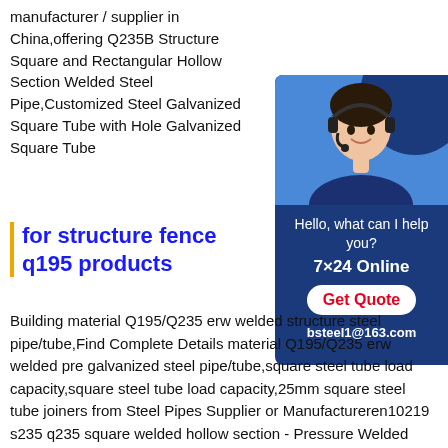manufacturer / supplier in China,offering Q235B Structure Square and Rectangular Hollow Section Welded Steel Pipe,Customized Steel Galvanized Square Tube with Hole Galvanized Square Tube
[Figure (photo): Customer service representative wearing a headset, with a blue background and a chat/support advertisement panel showing 'Hello, what can I help you?', '7×24 Online', 'Get Quote' button, and 'bsteel1@163.com']
for structure fence q195 products
Building material Q195/Q235 erw welded structure steel pipe/tube,Find Complete Details material Q195/Q235 erw welded pre galvanized steel pipe/tube,square steel tube load capacity,square steel tube load capacity,25mm square steel tube joiners from Steel Pipes Supplier or Manufactureren10219 s235 q235 square welded hollow section - Pressure Welded square tube Q245B square tube manufacturer square tube spotChina Q195 Black Annealed Welded Carbon Square and en10219 s235 q235 square welded hollow section. ERW Tube, 0.7mm Steel Tube, 25*25 Square